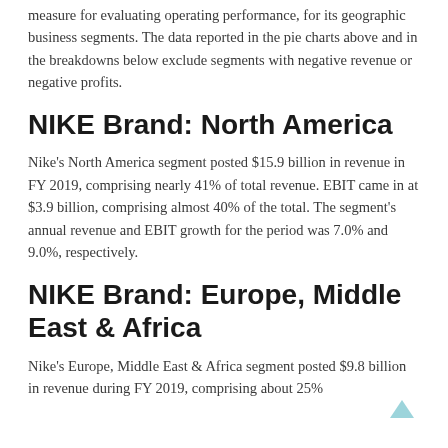measure for evaluating operating performance, for its geographic business segments. The data reported in the pie charts above and in the breakdowns below exclude segments with negative revenue or negative profits.
NIKE Brand: North America
Nike's North America segment posted $15.9 billion in revenue in FY 2019, comprising nearly 41% of total revenue. EBIT came in at $3.9 billion, comprising almost 40% of the total. The segment's annual revenue and EBIT growth for the period was 7.0% and 9.0%, respectively.
NIKE Brand: Europe, Middle East & Africa
Nike's Europe, Middle East & Africa segment posted $9.8 billion in revenue during FY 2019, comprising about 25%